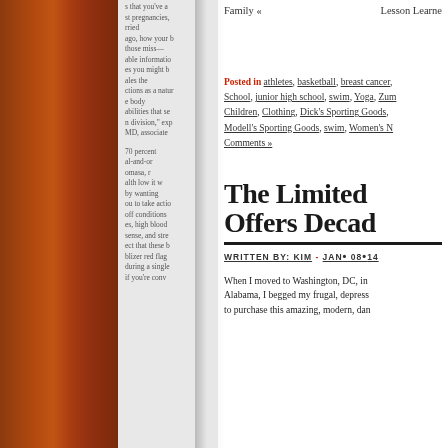Family «    Lesson Learned
Posted in athletes, basketball, breast cancer, School, junior high school, swim, Yoga, Zumba, Children, Clothing, Dick's Sporting Goods, Modell's Sporting Goods, swim, Women's N... Comments »
The Limited Offers Decad...
WRITTEN BY: KIM - JAN• 08•14
When I moved to Washington, DC, in... Alabama, I begged my frugal, depress... to purchase this amazing, modern, dar...